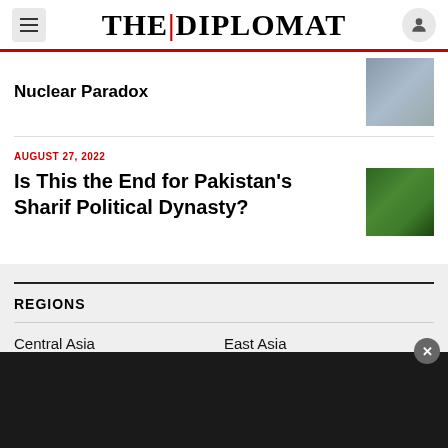THE DIPLOMAT
Nuclear Paradox
AUGUST 27, 2022
Is This the End for Pakistan's Sharif Political Dynasty?
REGIONS
Central Asia
East Asia